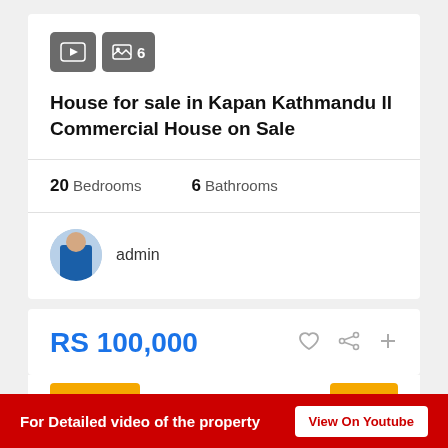[Figure (screenshot): Media icon buttons: video play icon and image gallery icon with count 6]
House for sale in Kapan Kathmandu ll Commercial House on Sale
20 Bedrooms   6 Bathrooms
[Figure (photo): Circular avatar photo of admin user showing a person in blue shirt]
admin
RS 100,000
For Detailed video of the property   View On Youtube